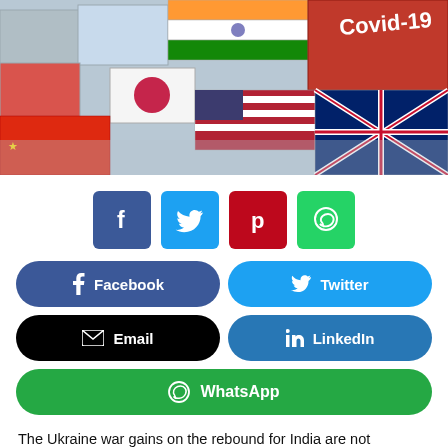[Figure (illustration): Hero image showing stacked shipping containers decorated with various country flags (India, Japan, USA, China, UK among others), with a prominent red container labeled 'Covid-19' in white text on the upper right.]
[Figure (infographic): Row of four square social share icon buttons: Facebook (dark blue, f), Twitter (light blue, bird), Pinterest (red, p), WhatsApp (green, phone).]
[Figure (infographic): Social share buttons: Facebook (dark blue pill), Twitter (light blue pill), Email (black pill), LinkedIn (medium blue pill), WhatsApp (green wide pill spanning full width).]
The Ukraine war gains on the rebound for India are not